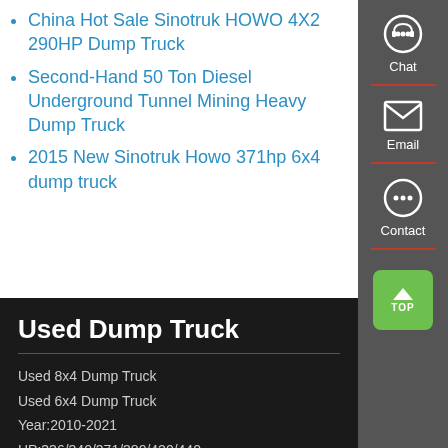China Hot Sale Sinotruk HOWO 4X2 290HP Dump Truck
Second-Hand 50 Ton Diesel Underground Tunnel Mining Heavy Dump Truck
2015 New Sinotruk Howo 371hp 6x4 dump truck
[Figure (infographic): Sidebar with Chat icon, Email icon, and Contact icon on dark grey background with red dividers]
Used Dump Truck
Used 8x4 Dump Truck
Used 6x4 Dump Truck
Year:2010-2021
HP:336/340/371/380/420/440